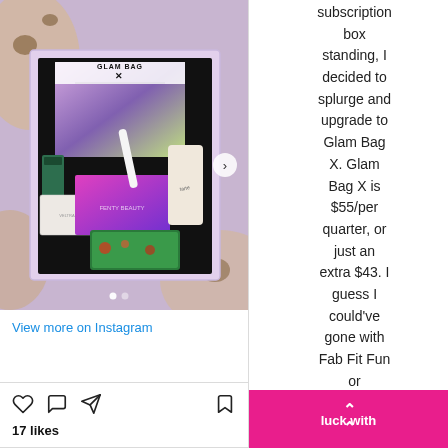[Figure (photo): Instagram post showing a Glam Bag X subscription box open with various beauty products inside, including a pink/purple palette, green eyeshadow, white compact, floral box, and a pamphlet with a woman's photo on it. The box is lilac/lavender colored sitting on a sandy surface.]
View more on Instagram
17 likes
subscription box standing, I decided to splurge and upgrade to Glam Bag X. Glam Bag X is $55/per quarter, or just an extra $43. I guess I could've gone with Fab Fit Fun or Boxycharm, but I've had such a luck with